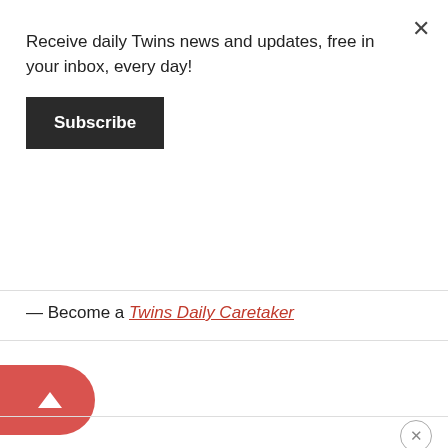×
Receive daily Twins news and updates, free in your inbox, every day!
Subscribe
— Become a Twins Daily Caretaker
[Figure (other): Red pill-shaped scroll-to-top button with upward triangle arrow, positioned on left edge]
×